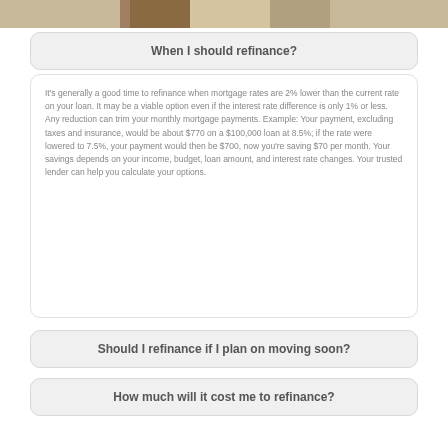[Figure (photo): Photo of two people, partially visible at top of page]
When I should refinance?
It's generally a good time to refinance when mortgage rates are 2% lower than the current rate on your loan. It may be a viable option even if the interest rate difference is only 1% or less. Any reduction can trim your monthly mortgage payments. Example: Your payment, excluding taxes and insurance, would be about $770 on a $100,000 loan at 8.5%; if the rate were lowered to 7.5%, your payment would then be $700, now you're saving $70 per month. Your savings depends on your income, budget, loan amount, and interest rate changes. Your trusted lender can help you calculate your options.
Should I refinance if I plan on moving soon?
How much will it cost me to refinance?